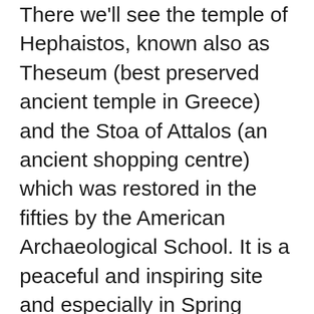There we'll see the temple of Hephaistos, known also as Theseum (best preserved ancient temple in Greece) and the Stoa of Attalos (an ancient shopping centre) which was restored in the fifties by the American Archaeological School. It is a peaceful and inspiring site and especially in Spring when everything is in full bloom one's spirit lifts! Our tour will be completed with our visit to the National Archaeological Museum, the biggest museum in Greece with one of the most extensive and important archaeological collections in the world. It houses, among other